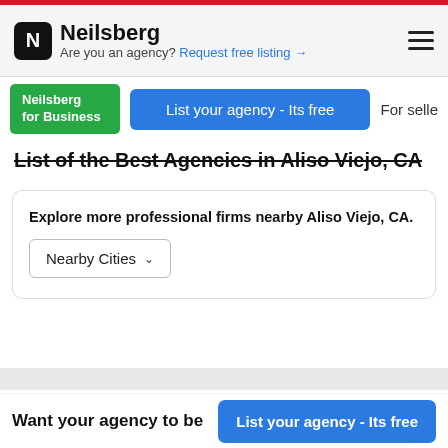Neilsberg — Are you an agency? Request free listing →
[Figure (screenshot): Neilsberg for Business green logo button]
List your agency - Its free
For selle
List of the Best Agencies in Aliso Viejo, CA
Explore more professional firms nearby Aliso Viejo, CA.
Nearby Cities ∨
KWSM Productions
Want your agency to be
List your agency - Its free